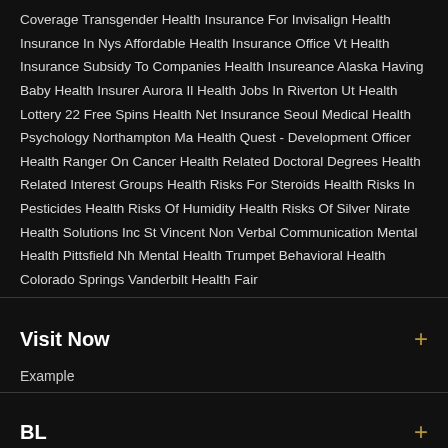Coverage Transgender Health Insurance For Invisalign Health Insurance In Nys Affordable Health Insurance Office Vt Health Insurance Subsidy To Companies Health Insureance Alaska Having Baby Health Insurer Aurora Il Health Jobs In Riverton Ut Health Lottery 22 Free Spins Health Net Insurance Seoul Medical Health Psychology Northampton Ma Health Quest - Development Officer Health Ranger On Cancer Health Related Doctoral Degrees Health Related Interest Groups Health Risks For Steroids Health Risks In Pesticides Health Risks Of Humidity Health Risks Of Silver Nirate Health Solutions Inc St Vincent Non Verbal Communication Mental Health Pittsfield Nh Mental Health Trumpet Behavioral Health Colorado Springs Vanderbilt Health Fair
Visit Now
Example
BL